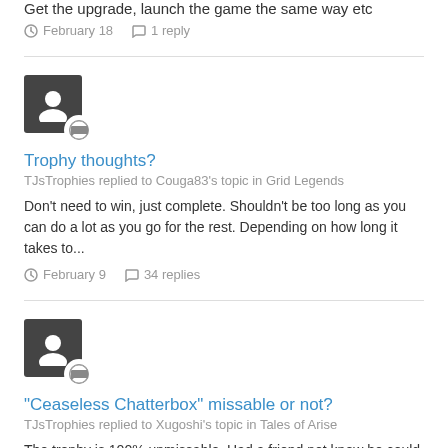Get the upgrade, launch the game the same way etc
February 18  1 reply
[Figure (other): User avatar with comment badge icon]
Trophy thoughts?
TJsTrophies replied to Couga83's topic in Grid Legends
Don't need to win, just complete. Shouldn't be too long as you can do a lot as you go for the rest. Depending on how long it takes to...
February 9  34 replies
[Figure (other): User avatar with comment badge icon]
"Ceaseless Chatterbox" missable or not?
TJsTrophies replied to Xugoshi's topic in Tales of Arise
The trophy is 100% unmissable. Had a friend not know he could press R1 and didn't until finished the game, still got over 300 for the...
February 2  12 replies  +1